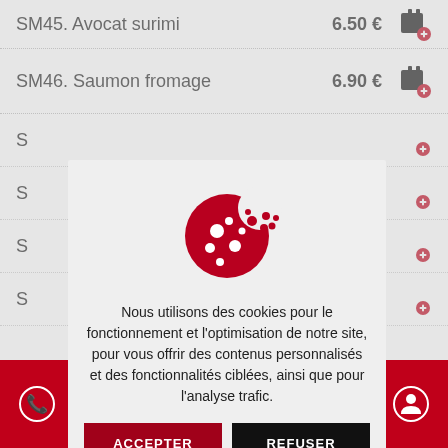SM45. Avocat surimi   6.50 €
SM46. Saumon fromage   6.90 €
S[M47. partially visible]
S[M48. partially visible]
S[M49. partially visible]
S[M50. partially visible]
- ... p ...
[Figure (infographic): Cookie consent modal overlay with a red cookie icon, text in French about cookie usage, and two buttons: ACCEPTER (red) and REFUSER (black).]
Nous utilisons des cookies pour le fonctionnement et l'optimisation de notre site, pour vous offrir des contenus personnalisés et des fonctionnalités ciblées, ainsi que pour l'analyse trafic.
Footer navigation bar with icons: phone, email, checkmark, bed, clock, person